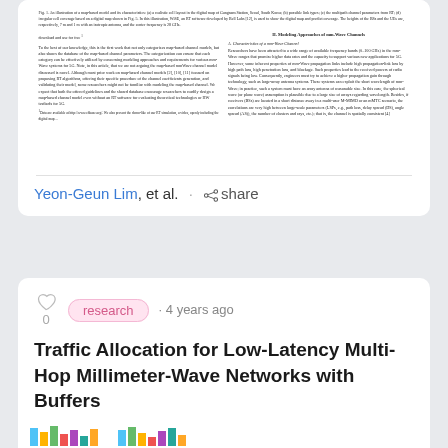[Figure (screenshot): Thumbnail preview of a scientific paper showing two-column text layout with figure caption and section headings about map-based channel models for 5G mmWave systems.]
Yeon-Geun Lim, et al. · share
research · 4 years ago
Traffic Allocation for Low-Latency Multi-Hop Millimeter-Wave Networks with Buffers
For millimeter-wave (mm-wave) buffer-aided tandem networks consisting of...
[Figure (screenshot): Partial view of another research paper card showing bar charts at the bottom of the page.]